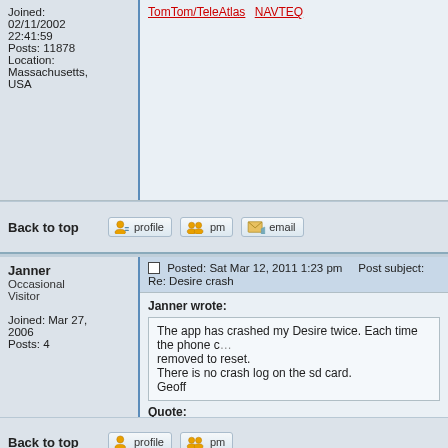Joined: 02/11/2002 22:41:59
Posts: 11878
Location: Massachusetts, USA
Back to top
Janner
Occasional Visitor

Joined: Mar 27, 2006
Posts: 4
Posted: Sat Mar 12, 2011 1:23 pm    Post subject: Re: Desire crash
Janner wrote:
The app has crashed my Desire twice. Each time the phone c... removed to reset.
There is no crash log on the sd card.
Geoff

Quote:
I've now run this app 3 times without maps. It has crashed twi...
I have found one crash report which I will forward to you.
Back to top
lbendlin
Pocket GPS Staff
Posted: Sat Mar 12, 2011 2:55 pm    Post subject:
@janner,